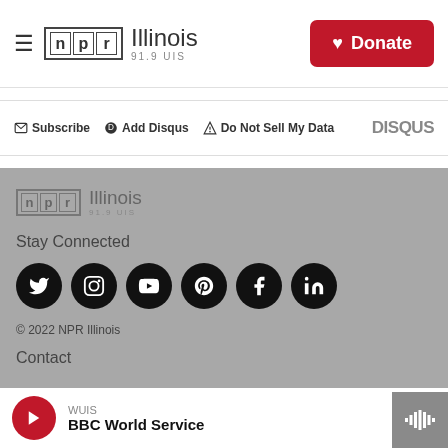[Figure (logo): NPR Illinois 91.9 UIS logo with hamburger menu and Donate button in header]
Subscribe  Add Disqus  Do Not Sell My Data  DISQUS
[Figure (logo): NPR Illinois 91.9 UIS footer logo]
Stay Connected
[Figure (illustration): Social media icons: Twitter, Instagram, YouTube, Pinterest, Facebook, LinkedIn]
© 2022 NPR Illinois
Contact
WUIS
BBC World Service